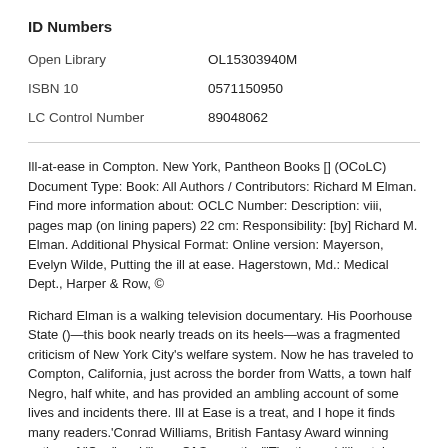ID Numbers
|  |  |
| --- | --- |
| Open Library | OL15303940M |
| ISBN 10 | 0571150950 |
| LC Control Number | 89048062 |
Ill-at-ease in Compton. New York, Pantheon Books [] (OCoLC) Document Type: Book: All Authors / Contributors: Richard M Elman. Find more information about: OCLC Number: Description: viii, pages map (on lining papers) 22 cm: Responsibility: [by] Richard M. Elman. Additional Physical Format: Online version: Mayerson, Evelyn Wilde, Putting the ill at ease. Hagerstown, Md.: Medical Dept., Harper & Row, ©
Richard Elman is a walking television documentary. His Poorhouse State ()—this book nearly treads on its heels—was a fragmented criticism of New York City's welfare system. Now he has traveled to Compton, California, just across the border from Watts, a town half Negro, half white, and has provided an ambling account of some lives and incidents there. Ill at Ease is a treat, and I hope it finds many readers.'Conrad Williams, British Fantasy Award winning author of "One" and "Loss Of Separation"'The three chilling tales from "Ill at Ease" ably demonstrate that horror can be found in the most mundane places, and a sense of unease is always much closer than we think.'Gary McMahon, author of.